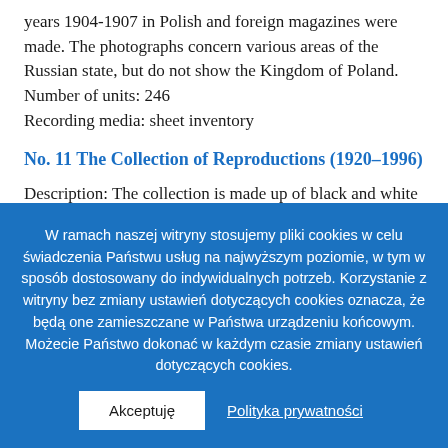years 1904-1907 in Polish and foreign magazines were made. The photographs concern various areas of the Russian state, but do not show the Kingdom of Poland. Number of units: 246 Recording media: sheet inventory
No. 11 The Collection of Reproductions (1920–1996)
Description: The collection is made up of black and white positives with various formats. The originals are kept by other institutions (archives, libraries...
W ramach naszej witryny stosujemy pliki cookies w celu świadczenia Państwu usług na najwyższym poziomie, w tym w sposób dostosowany do indywidualnych potrzeb. Korzystanie z witryny bez zmiany ustawień dotyczących cookies oznacza, że będą one zamieszczane w Państwa urządzeniu końcowym. Możecie Państwo dokonać w każdym czasie zmiany ustawień dotyczących cookies.